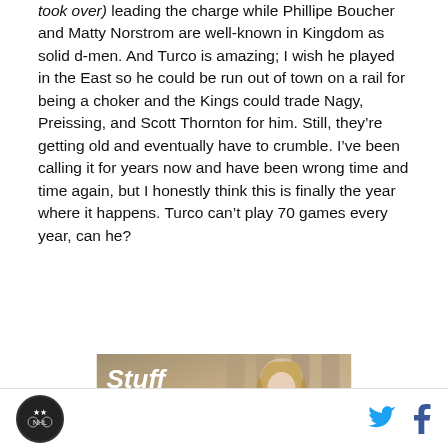(took over) leading the charge while Phillipe Boucher and Matty Norstrom are well-known in Kingdom as solid d-men. And Turco is amazing; I wish he played in the East so he could be run out of town on a rail for being a choker and the Kings could trade Nagy, Preissing, and Scott Thornton for him. Still, they're getting old and eventually have to crumble. I've been calling it for years now and have been wrong time and time again, but I honestly think this is finally the year where it happens. Turco can't play 70 games every year, can he?
[Figure (photo): Advertisement for Stuff magazine showing a blonde woman with the Stuff logo and website www.stuffmagazine.com]
Social share icons: Twitter and Facebook